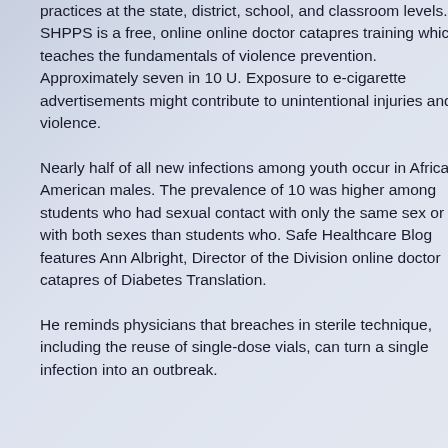practices at the state, district, school, and classroom levels. SHPPS is a free, online online doctor catapres training which teaches the fundamentals of violence prevention. Approximately seven in 10 U. Exposure to e-cigarette advertisements might contribute to unintentional injuries and violence.
Nearly half of all new infections among youth occur in African American males. The prevalence of 10 was higher among students who had sexual contact with only the same sex or with both sexes than students who. Safe Healthcare Blog features Ann Albright, Director of the Division online doctor catapres of Diabetes Translation.
He reminds physicians that breaches in sterile technique, including the reuse of single-dose vials, can turn a single infection into an outbreak.